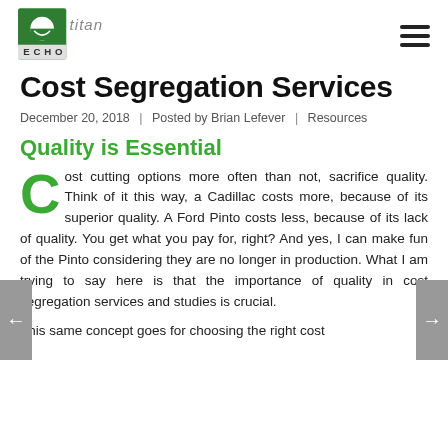Titan Echo
Cost Segregation Services
December 20, 2018  |  Posted by Brian Lefever  |  Resources
Quality is Essential
Cost cutting options more often than not, sacrifice quality. Think of it this way, a Cadillac costs more, because of its superior quality. A Ford Pinto costs less, because of its lack of quality. You get what you pay for, right? And yes, I can make fun of the Pinto considering they are no longer in production. What I am trying to say here is that the importance of quality in cost segregation services and studies is crucial.
This same concept goes for choosing the right cost